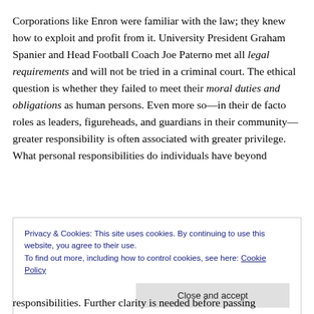Corporations like Enron were familiar with the law; they knew how to exploit and profit from it. University President Graham Spanier and Head Football Coach Joe Paterno met all legal requirements and will not be tried in a criminal court. The ethical question is whether they failed to meet their moral duties and obligations as human persons. Even more so—in their de facto roles as leaders, figureheads, and guardians in their community—greater responsibility is often associated with greater privilege. What personal responsibilities do individuals have beyond
Privacy & Cookies: This site uses cookies. By continuing to use this website, you agree to their use. To find out more, including how to control cookies, see here: Cookie Policy
responsibilities. Further clarity is needed before passing